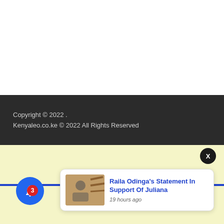Copyright © 2022 .
Kenyaleo.co.ke  ©  2022  All Rights Reserved
[Figure (screenshot): Notification bell icon with badge showing '3' notifications and a notification popup card showing 'Raila Odinga's Statement In Support Of Juliana' with a thumbnail image and '19 hours ago' timestamp, plus a close 'X' button]
Raila Odinga's Statement In Support Of Juliana
19 hours ago